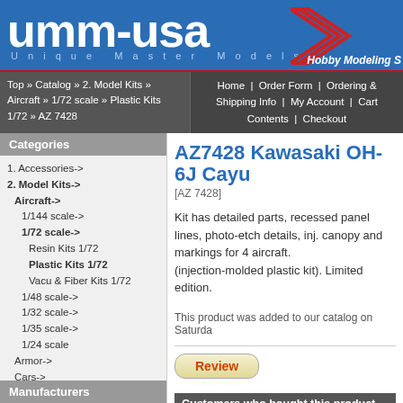UMM-USA — Unique Master Models — Hobby Modeling
Top » Catalog » 2. Model Kits » Aircraft » 1/72 scale » Plastic Kits 1/72 » AZ 7428
Home | Order Form | Ordering & Shipping Info | My Account | Cart Contents | Checkout
Categories
1. Accessories->
2. Model Kits->
Aircraft->
1/144 scale->
1/72 scale->
Resin Kits 1/72
Plastic Kits 1/72
Vacu & Fiber Kits 1/72
1/48 scale->
1/32 scale->
1/35 scale->
1/24 scale
Armor->
Cars->
Figures / Crew Sets->
Ships->
Other / Miscellaneous
3. Decals / Masks->
4. Tools / Supplies->
5. Magazines / Books->
6. Miscellaneous->
7. Second Chance->
Manufacturers
AZ7428 Kawasaki OH-6J Cayu
[AZ 7428]
Kit has detailed parts, recessed panel lines, photo-etch details, inj. canopy and markings for 4 aircraft. (injection-molded plastic kit). Limited edition.
This product was added to our catalog on Saturda
Review
Customers who bought this product also purchased